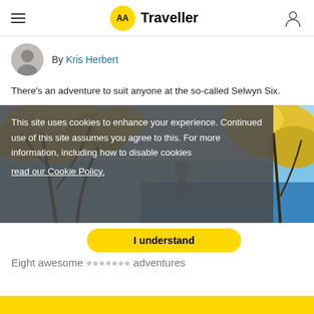AA Traveller
By Kris Herbert
There's an adventure to suit anyone at the so-called Selwyn Six.
[Figure (photo): Outdoor photo showing tree branches with yellow autumn leaves against a blue sky, with a person visible in the background]
This site uses cookies to enhance your experience. Continued use of this site assumes you agree to this. For more information, including how to disable cookies read our Cookie Policy.
I understand
Eight awesome adventures